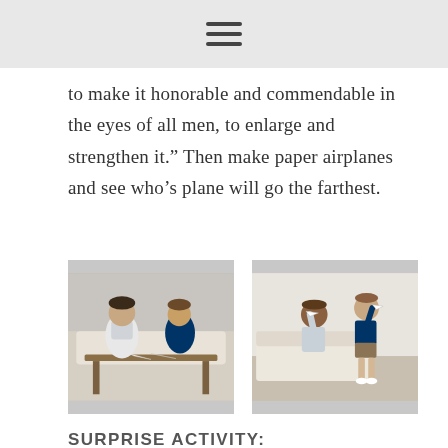☰
to make it honorable and commendable in the eyes of all men, to enlarge and strengthen it.” Then make paper airplanes and see who’s plane will go the farthest.
[Figure (photo): Two boys sitting at a wooden table making paper airplanes]
[Figure (photo): Two boys standing in a living room holding paper airplanes]
SURPRISE ACTIVITY:
Discuss how the Priesthood is the power